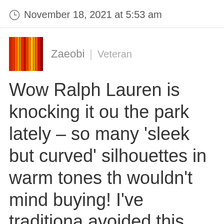November 18, 2021 at 5:53 am
Zaeobi | Veteran
Wow Ralph Lauren is knocking it out the park lately – so many 'sleek but curved' silhouettes in warm tones th wouldn't mind buying! I've traditiona avoided this brand because I thoug their clothes were only made for tal their best t... To what tat i...